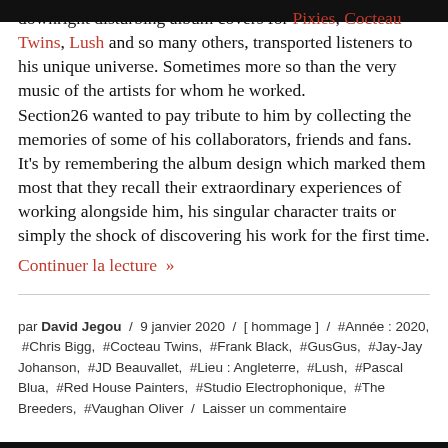downright disturbing album covers for Pixies, Cocteau Twins, Lush and so many others, transported listeners to his unique universe. Sometimes more so than the very music of the artists for whom he worked. Section26 wanted to pay tribute to him by collecting the memories of some of his collaborators, friends and fans. It's by remembering the album design which marked them most that they recall their extraordinary experiences of working alongside him, his singular character traits or simply the shock of discovering his work for the first time.
Continuer la lecture »
par David Jegou / 9 janvier 2020 / [ hommage ] / #Année : 2020, #Chris Bigg, #Cocteau Twins, #Frank Black, #GusGus, #Jay-Jay Johanson, #JD Beauvallet, #Lieu : Angleterre, #Lush, #Pascal Blua, #Red House Painters, #Studio Electrophonique, #The Breeders, #Vaughan Oliver / Laisser un commentaire